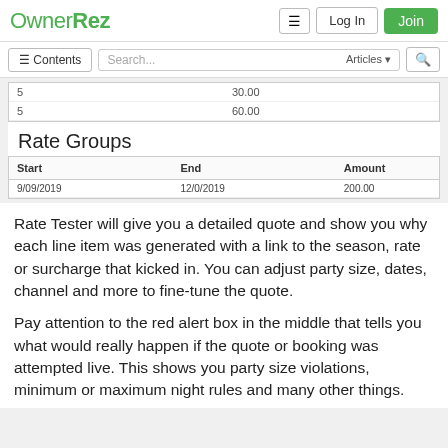OwnerRez
| 5 | 30.00 |
| 5 | 60.00 |
Rate Groups
| Start | End | Amount |
| --- | --- | --- |
| 9/09/2019 | 12/0/2019 | 200.00 |
Rate Tester will give you a detailed quote and show you why each line item was generated with a link to the season, rate or surcharge that kicked in.  You can adjust party size, dates, channel and more to fine-tune the quote.
Pay attention to the red alert box in the middle that tells you what would really happen if the quote or booking was attempted live.  This shows you party size violations, minimum or maximum night rules and many other things.